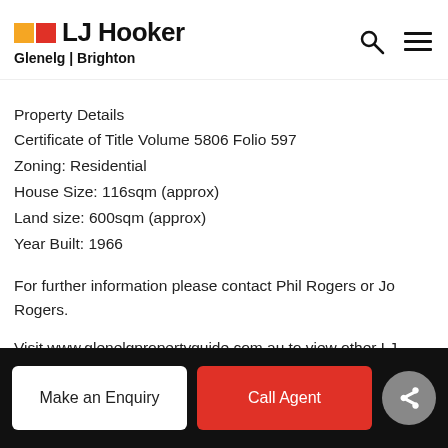LJ Hooker Glenelg | Brighton
Property Details
Certificate of Title Volume 5806 Folio 597
Zoning: Residential
House Size: 116sqm (approx)
Land size: 600sqm (approx)
Year Built: 1966
For further information please contact Phil Rogers or Jo Rogers.
Visit www.glenelgpropertyguide.com.au to view other LJ Hooker Glenelg listings.
RLA 182909
Make an Enquiry | Call Agent